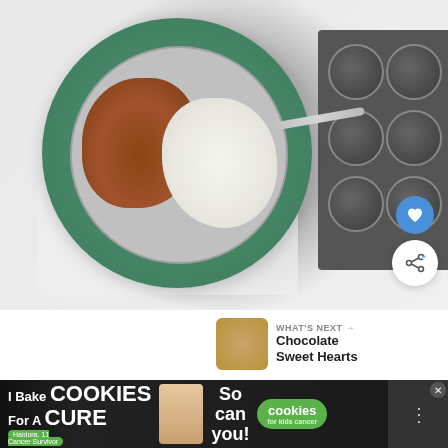[Figure (photo): Overhead view of a green bowl/strainer sieve with cocoa powder and white flour inside, placed on a white polka-dot towel on a marble surface. A muffin tin is visible in the upper right. A tea box is partially visible in the upper left.]
And mix until just combined.
[Figure (infographic): WHAT'S NEXT promotional widget with thumbnail of baked goods and text: Chocolate Sweet Hearts]
[Figure (infographic): Advertisement banner: 'I Bake COOKIES For A CURE – Haidora, 11 Cancer Survivor – So can you! – cookies for kids cancer' with a close button and a TV-like icon on the right.]